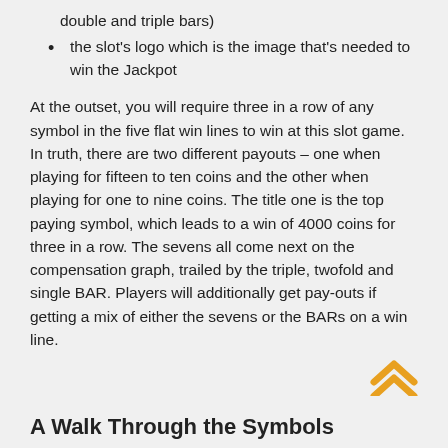double and triple bars)
the slot's logo which is the image that's needed to win the Jackpot
At the outset, you will require three in a row of any symbol in the five flat win lines to win at this slot game. In truth, there are two different payouts – one when playing for fifteen to ten coins and the other when playing for one to nine coins. The title one is the top paying symbol, which leads to a win of 4000 coins for three in a row. The sevens all come next on the compensation graph, trailed by the triple, twofold and single BAR. Players will additionally get pay-outs if getting a mix of either the sevens or the BARs on a win line.
A Walk Through the Symbols